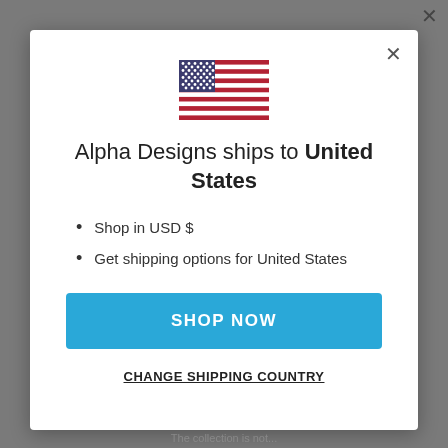[Figure (illustration): US flag emoji/icon centered at top of modal]
Alpha Designs ships to United States
Shop in USD $
Get shipping options for United States
SHOP NOW
CHANGE SHIPPING COUNTRY